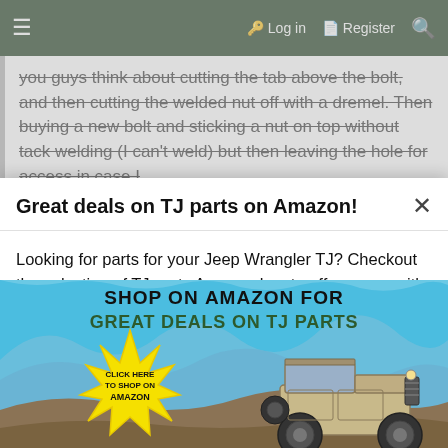≡  Log in  Register  🔍
you guys think about cutting the tab above the bolt, and then cutting the welded nut off with a dremel. Then buying a new bolt and sticking a nut on top without tack welding (I can't weld) but then leaving the hole for access in case I
Great deals on TJ parts on Amazon!
Looking for parts for your Jeep Wrangler TJ? Checkout the selection of TJ parts Amazon has to offer, many with 2-day Prime shipping!
Click the image below to browse TJ parts on Amazon.
[Figure (illustration): Advertisement banner: 'SHOP ON AMAZON FOR GREAT DEALS ON TJ PARTS' with a yellow starburst containing 'CLICK HERE TO SHOP ON AMAZON' and an illustration of a Jeep Wrangler TJ on rocky terrain against a blue sky background.]